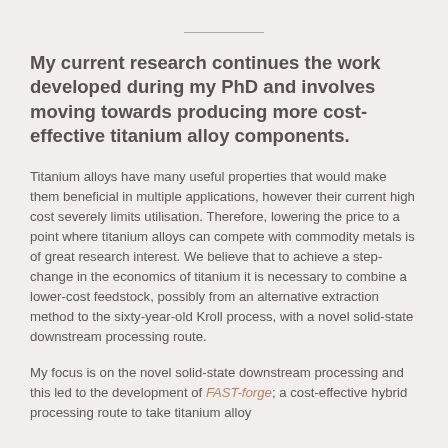My current research continues the work developed during my PhD and involves moving towards producing more cost-effective titanium alloy components.
Titanium alloys have many useful properties that would make them beneficial in multiple applications, however their current high cost severely limits utilisation. Therefore, lowering the price to a point where titanium alloys can compete with commodity metals is of great research interest. We believe that to achieve a step-change in the economics of titanium it is necessary to combine a lower-cost feedstock, possibly from an alternative extraction method to the sixty-year-old Kroll process, with a novel solid-state downstream processing route.
My focus is on the novel solid-state downstream processing and this led to the development of FAST-forge; a cost-effective hybrid processing route to take titanium alloy